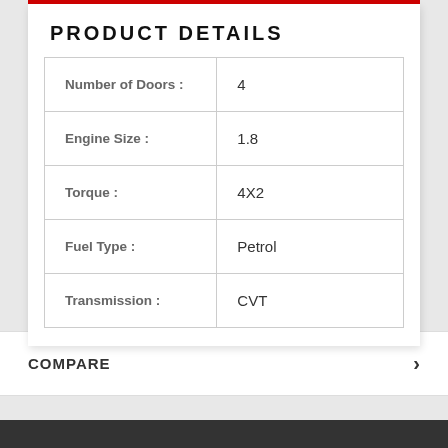PRODUCT DETAILS
| Number of Doors : | 4 |
| Engine Size : | 1.8 |
| Torque : | 4X2 |
| Fuel Type : | Petrol |
| Transmission : | CVT |
COMPARE